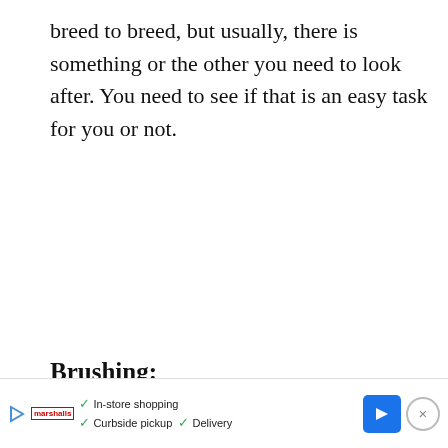breed to breed, but usually, there is something or the other you need to look after. You need to see if that is an easy task for you or not.
Brushing:
[Figure (other): CoinFlip Bitcoin ATM advertisement with blue background. Headline: 'CoinFlip: So Flippin' Easy'. Subtext: 'Award-Winning Customer Service - 3,700+ Bitcoin ATMs!']
[Figure (other): Bottom banner advertisement showing a play button icon, Marshalls logo, checkmarks for In-store shopping, Curbside pickup, Delivery, a blue navigation arrow icon, and an X close button.]